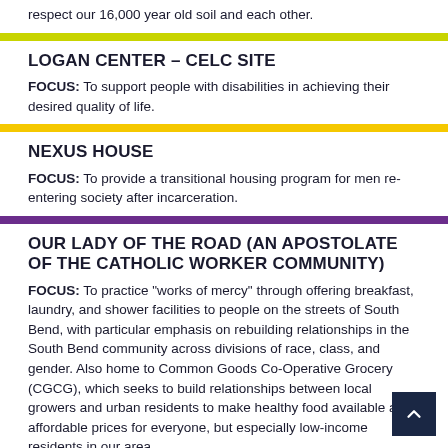respect our 16,000 year old soil and each other.
LOGAN CENTER – CELC SITE
FOCUS: To support people with disabilities in achieving their desired quality of life.
NEXUS HOUSE
FOCUS: To provide a transitional housing program for men re-entering society after incarceration.
OUR LADY OF THE ROAD (AN APOSTOLATE OF THE CATHOLIC WORKER COMMUNITY)
FOCUS: To practice "works of mercy" through offering breakfast, laundry, and shower facilities to people on the streets of South Bend, with particular emphasis on rebuilding relationships in the South Bend community across divisions of race, class, and gender. Also home to Common Goods Co-Operative Grocery (CGCG), which seeks to build relationships between local growers and urban residents to make healthy food available at affordable prices for everyone, but especially low-income residents in our area.